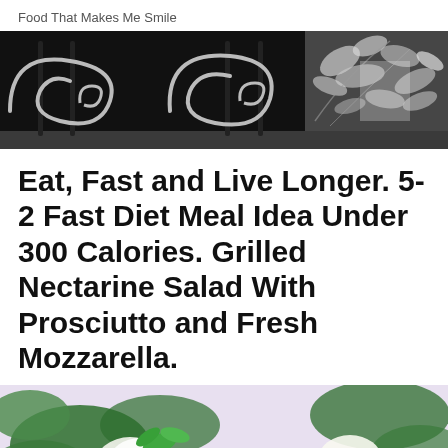Food That Makes Me Smile
[Figure (photo): Black and white photo of ornamental iron gate with scrollwork and foliage in the background]
Eat, Fast and Live Longer. 5-2 Fast Diet Meal Idea Under 300 Calories. Grilled Nectarine Salad With Prosciutto and Fresh Mozzarella.
[Figure (photo): Color close-up photo of a grilled nectarine salad with prosciutto, fresh mozzarella, and green leaves on a plate]